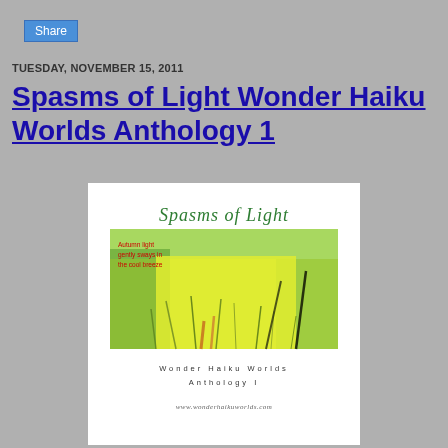Share
TUESDAY, NOVEMBER 15, 2011
Spasms of Light Wonder Haiku Worlds Anthology 1
[Figure (illustration): Book cover for 'Spasms of Light: Wonder Haiku Worlds Anthology I'. Features italic script title in green, a photograph of yellow-green grassy/floral landscape, haiku text in red reading 'Autumn light gently sways in the cool breeze', subtitle 'Wonder Haiku Worlds Anthology I' in spaced lettering, and website www.wonderhaikuworlds.com at bottom.]